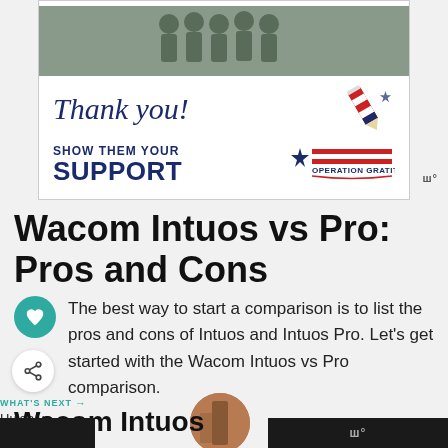[Figure (illustration): Advertisement banner with military personnel photo, cursive 'Thank you!' text with patriotic pencil graphic, 'SHOW THEM YOUR SUPPORT' text, and Operation Gratitude logo]
Wacom Intuos vs Pro: Pros and Cons
The best way to start a comparison is to list the pros and cons of Intuos and Intuos Pro. Let's get started with the Wacom Intuos vs Pro comparison.
WHAT'S NEXT → Huion vs Wacom:....
Wacom Intuos